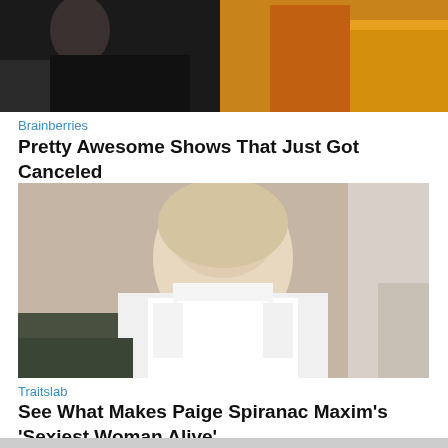[Figure (photo): Partial photo showing two people, one in dark clothing on the left and one in colorful outfit on the right, cropped at top of page]
Brainberries
Pretty Awesome Shows That Just Got Canceled
[Figure (photo): Photo of a blonde woman in a white tied crop top posing with arms spread out, standing in a room]
Traitslab
See What Makes Paige Spiranac Maxim's 'Sexiest Woman Alive'
[Figure (photo): Partial photo strip at bottom of page, partially cut off]